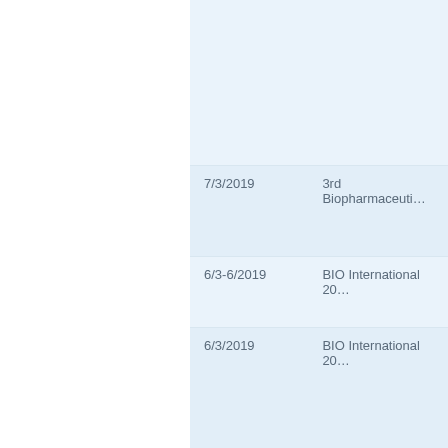| Date | Event |
| --- | --- |
|  |  |
| 7/3/2019 | 3rd Biopharmaceuti… |
| 6/3-6/2019 | BIO International 20… |
| 6/3/2019 | BIO International 20… |